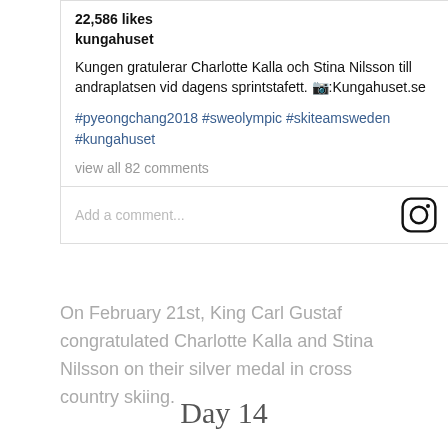22,586 likes
kungahuset
Kungen gratulerar Charlotte Kalla och Stina Nilsson till andraplatsen vid dagens sprintstafett. 📷:Kungahuset.se
#pyeongchang2018 #sweolympic #skiteamsweden #kungahuset
view all 82 comments
Add a comment...
On February 21st, King Carl Gustaf congratulated Charlotte Kalla and Stina Nilsson on their silver medal in cross country skiing.
Day 14